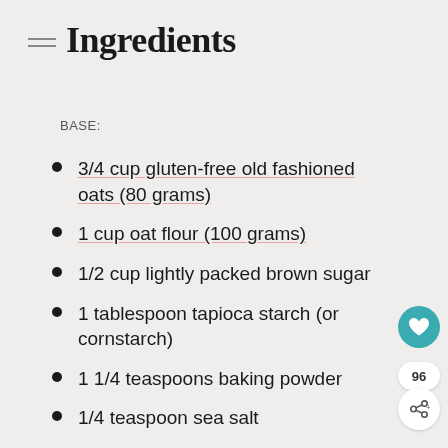Ingredients
BASE:
3/4 cup gluten-free old fashioned oats (80 grams)
1 cup oat flour (100 grams)
1/2 cup lightly packed brown sugar
1 tablespoon tapioca starch (or cornstarch)
1 1/4 teaspoons baking powder
1/4 teaspoon sea salt